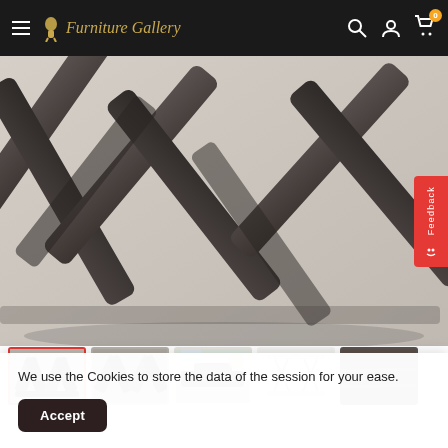Furniture Gallery
[Figure (photo): Close-up of dark wood X-cross table base/legs from below, showing geometric angular wooden support structure in dark espresso/charcoal finish]
[Figure (photo): Row of 5 product thumbnails: 1) X-base end table front view (selected/active), 2) X-base table side angle, 3) Living room scene with furniture set, 4) Line drawing/diagram of X-base table, 5) Dark wood grain texture close-up]
We use the Cookies to store the data of the session for your ease.
Accept